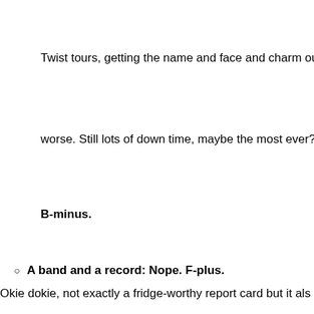Twist tours, getting the name and face and charm out there
worse. Still lots of down time, maybe the most ever?? Oh we
B-minus.
A band and a record: Nope. F-plus.
Okie dokie, not exactly a fridge-worthy report card but it als